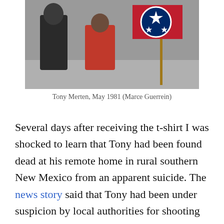[Figure (photo): Photograph of Tony Merten standing outdoors in May 1981, with red clothing and a Tennessee state flag visible in the background.]
Tony Merten, May 1981 (Marce Guerrein)
Several days after receiving the t-shirt I was shocked to learn that Tony had been found dead at his remote home in rural southern New Mexico from an apparent suicide. The news story said that Tony had been under suspicion by local authorities for shooting about a dozen cattle grazing on public land